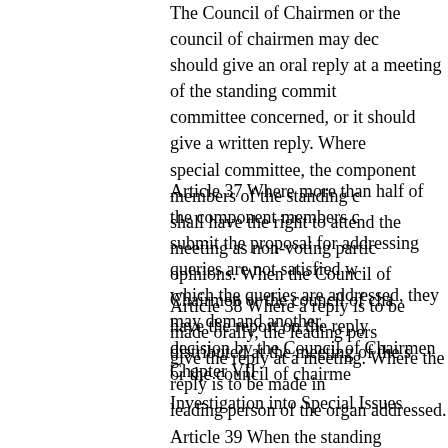The Council of Chairmen or the council of chairmen may decide should give an oral reply at a meeting of the standing committee concerned, or it should give a written reply. Where special committee, the component members of the standing c shall have the right to attend the meeting as non-voting parti opinions. When the Council of Chairmen or the council of cha have the report on the reply distributed at the meeting of the s
Article 37 Where more than half of the component members c submit the proposal for addressing queries are not satisfied w which the queries are addressed, they may demand another decision by the Council of Chairmen or the council of chairme
Article 38 Where a reply is to be made orally, the leading pers give the reply at a meeting. Where the reply is to be made in leading person of the organ addressed.
Chapter VII
Investigation into Special Issues
Article 39 When the standing committees of the people's cong